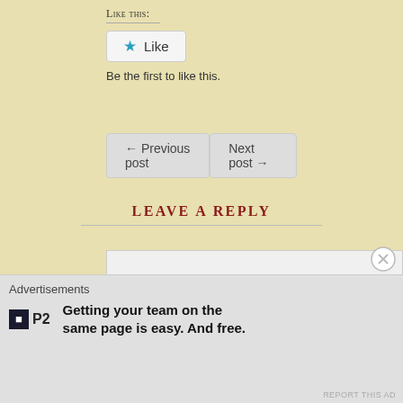Like this:
[Figure (screenshot): Like button widget with blue star icon and 'Like' text, rounded rectangle border]
Be the first to like this.
[Figure (screenshot): Navigation buttons: '← Previous post' on left and 'Next post →' on right]
LEAVE A REPLY
[Figure (screenshot): Comment text area with placeholder text 'Enter your comment here...']
Advertisements
[Figure (screenshot): P2 advertisement logo with text: Getting your team on the same page is easy. And free.]